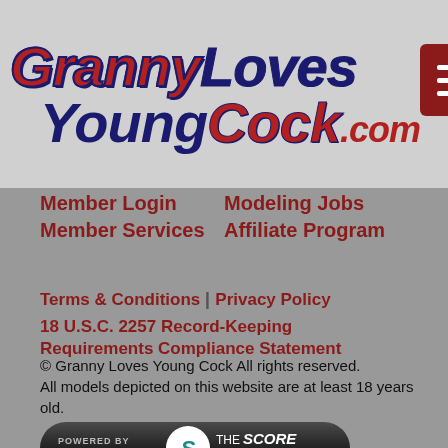GrannyLovesYoungCock.com
Member Login
Modeling Jobs
Member Services
Affiliate Program
Terms & Conditions | Privacy Policy
18 U.S.C. 2257 Record-Keeping Requirements Compliance Statement
© Granny Loves Young Cock All rights reserved. All models depicted on this website are at least 18 years old.
[Figure (logo): Powered by The Score Group badge logo with dark rounded pill shape]